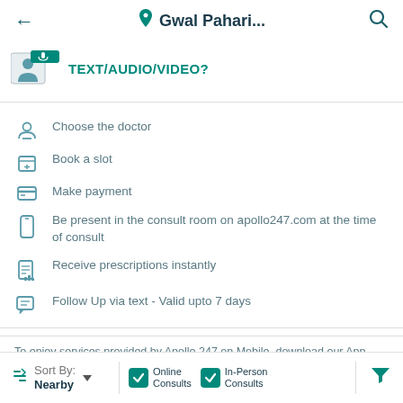← 📍 Gwal Pahari... 🔍
TEXT/AUDIO/VIDEO?
Choose the doctor
Book a slot
Make payment
Be present in the consult room on apollo247.com at the time of consult
Receive prescriptions instantly
Follow Up via text - Valid upto 7 days
To enjoy services provided by Apollo 247 on Mobile, download our App
Sort By: Nearby  ▼  | ✓ Online Consults  ✓ In-Person Consults | 🔽